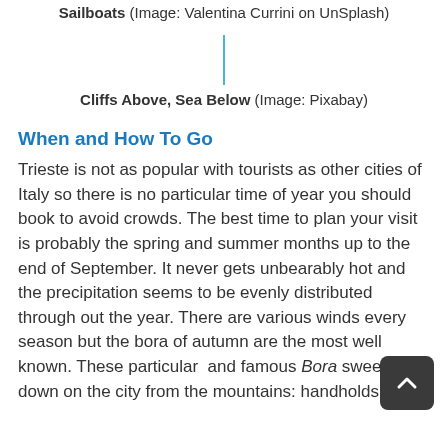Sailboats (Image: Valentina Currini on UnSplash)
[Figure (illustration): Blue vertical line/divider element above second image caption]
Cliffs Above, Sea Below (Image: Pixabay)
When and How To Go
Trieste is not as popular with tourists as other cities of Italy so there is no particular time of year you should book to avoid crowds. The best time to plan your visit is probably the spring and summer months up to the end of September. It never gets unbearably hot and the precipitation seems to be evenly distributed through out the year. There are various winds every season but the bora of autumn are the most well known. These particular  and famous Bora sweep down on the city from the mountains: handholds of